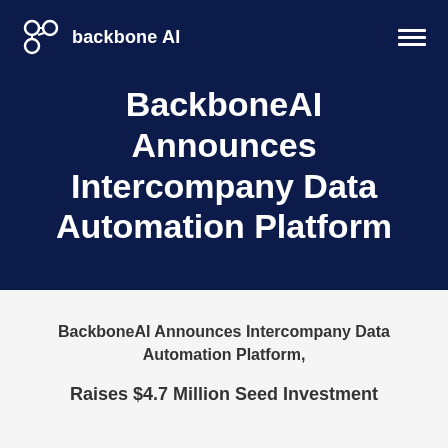[Figure (logo): BackboneAI logo with connected nodes icon and text 'backbone AI' in white on dark navy background]
BackboneAI Announces Intercompany Data Automation Platform
BackboneAI Announces Intercompany Data Automation Platform,
Raises $4.7 Million Seed Investment